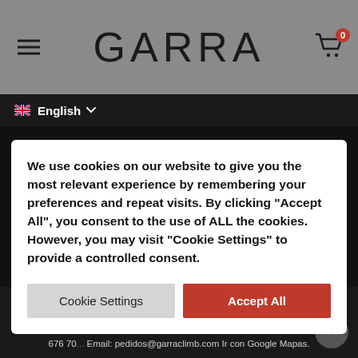GARRA
English
We use cookies on our website to give you the most relevant experience by remembering your preferences and repeat visits. By clicking "Accept All", you consent to the use of ALL the cookies. However, you may visit "Cookie Settings" to provide a controlled consent.
Cookie Settings
Accept All
© GARRA by Mountain Art S.L. Calle Montes de Toledo 38 - P.I. San Fernando II 28830 San Fernando de Henares - Madrid (Spain) C.I.F. B88350384 Atención al cliente y tienda: De lunes a viernes de 9h a 14h y de 15h a 18h. Tfno: (+34) 91 676 70... Email: pedidos@garraclimb.com Ir con Google Mapas.